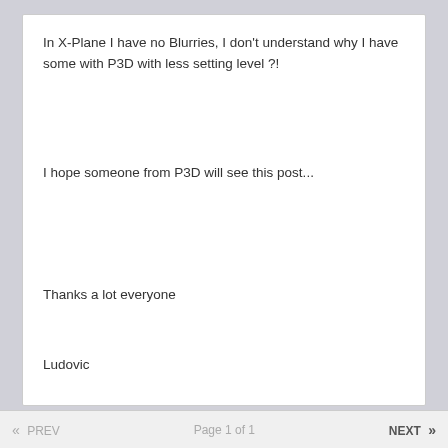In X-Plane I have no Blurries, I don't understand why I have some with P3D with less setting level ?!
I hope someone from P3D will see this post...
Thanks a lot everyone
Ludovic
PREV   Page 1 of 1   NEXT